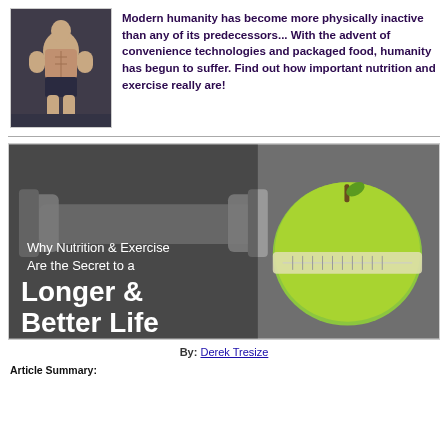[Figure (photo): Muscular shirtless man posing, fitness/bodybuilding photo]
Modern humanity has become more physically inactive than any of its predecessors... With the advent of convenience technologies and packaged food, humanity has begun to suffer. Find out how important nutrition and exercise really are!
[Figure (photo): Banner image: green apple wrapped with measuring tape next to dumbbells, with overlaid text 'Why Nutrition & Exercise Are the Secret to a Longer & Better Life']
By: Derek Tresize
Article Summary: